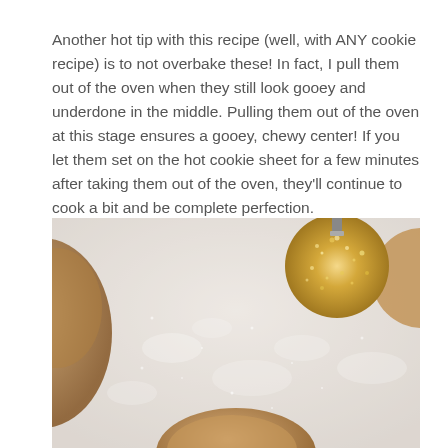Another hot tip with this recipe (well, with ANY cookie recipe) is to not overbake these! In fact, I pull them out of the oven when they still look gooey and underdone in the middle. Pulling them out of the oven at this stage ensures a gooey, chewy center! If you let them set on the hot cookie sheet for a few minutes after taking them out of the oven, they'll continue to cook a bit and be complete perfection.
[Figure (photo): Close-up photo of cookies dusted with powdered sugar on a white textured surface, with a gold glitter Christmas ornament in the upper right corner and a brown cookie visible in the lower center.]